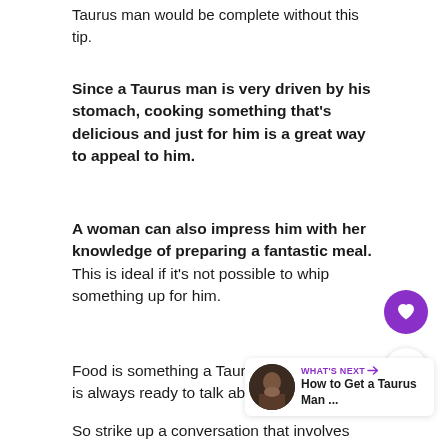Taurus man would be complete without this tip.
Since a Taurus man is very driven by his stomach, cooking something that's delicious and just for him is a great way to appeal to him.
A woman can also impress him with her knowledge of preparing a fantastic meal. This is ideal if it's not possible to whip something up for him.
Food is something a Taurus man is always ready to talk about.
So strike up a conversation that involves
[Figure (infographic): Purple circular heart/favorite button and white circular share button on the right side of the page]
[Figure (infographic): What's Next widget showing a thumbnail image of a woman and text 'How to Get a Taurus Man ...']